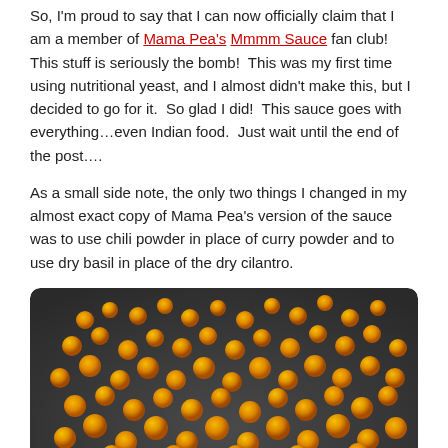So, I'm proud to say that I can now officially claim that I am a member of Mama Pea's Mmmm Sauce fan club!  This stuff is seriously the bomb!  This was my first time using nutritional yeast, and I almost didn't make this, but I decided to go for it.  So glad I did!  This sauce goes with everything…even Indian food.  Just wait until the end of the post….
As a small side note, the only two things I changed in my almost exact copy of Mama Pea's version of the sauce was to use chili powder in place of curry powder and to use dry basil in place of the dry cilantro.
[Figure (photo): Photo of roasted chickpeas scattered on a dark baking tray, orange-golden in color.]